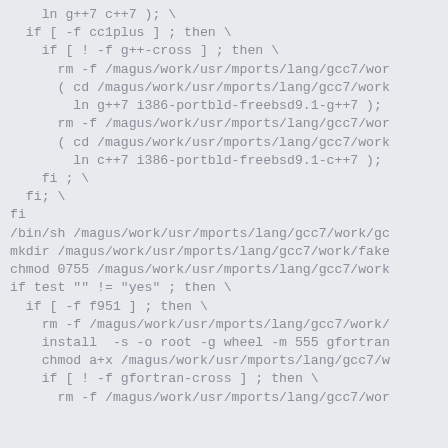ln g++7 c++7 ); \
  if [ -f cc1plus ] ; then \
    if [ ! -f g++-cross ] ; then \
      rm -f /magus/work/usr/mports/lang/gcc7/wor
      ( cd /magus/work/usr/mports/lang/gcc7/work
        ln g++7 i386-portbld-freebsd9.1-g++7 );
      rm -f /magus/work/usr/mports/lang/gcc7/wor
      ( cd /magus/work/usr/mports/lang/gcc7/work
        ln c++7 i386-portbld-freebsd9.1-c++7 );
    fi ; \
  fi; \
fi
/bin/sh /magus/work/usr/mports/lang/gcc7/work/gc
mkdir /magus/work/usr/mports/lang/gcc7/work/fake
chmod 0755 /magus/work/usr/mports/lang/gcc7/work
if test "" != "yes" ; then \
  if [ -f f951 ] ; then \
    rm -f /magus/work/usr/mports/lang/gcc7/work/
    install  -s -o root -g wheel -m 555 gfortran
    chmod a+x /magus/work/usr/mports/lang/gcc7/w
    if [ ! -f gfortran-cross ] ; then \
      rm -f /magus/work/usr/mports/lang/gcc7/wor